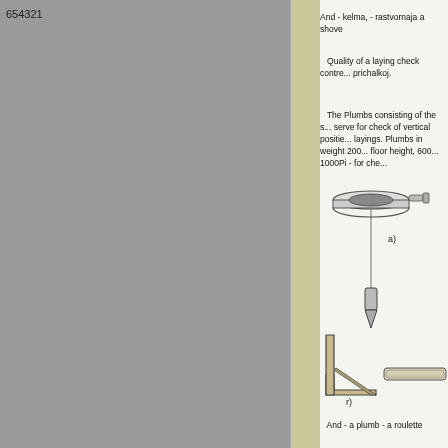654321
And - kelma, - rastvornaja a shove
Quality of a laying check contro... prichalkoj.
The Plumbs consisting of the s... serve for check of vertical positio... layings. Plumbs in weight 200... floor height, 600... 1000Pi - for che...
[Figure (illustration): Technical illustration showing masonry tools: a) a plumb bob hanging from a string reel/spool device at top, and r) a square/angle tool and a flat straight-edge ruler/level at bottom.]
And - a plumb - a roulette